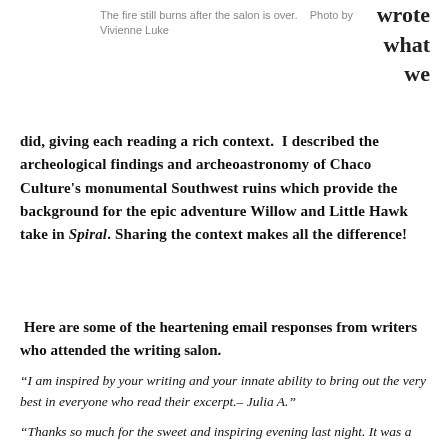The fire still burns after the salon is over.    Photo by Vivienne Luke
wrote
what
we
did, giving each reading a rich context.  I described the archeological findings and archeoastronomy of Chaco Culture's monumental Southwest ruins which provide the background for the epic adventure Willow and Little Hawk take in Spiral. Sharing the context makes all the difference!
Here are some of the heartening email responses from writers who attended the writing salon.
“I am inspired by your writing and your innate ability to bring out the very best in everyone who read their excerpt.– Julia A.”
“Thanks so much for the sweet and inspiring evening last night. It was a particularly inspiring with beautiful words